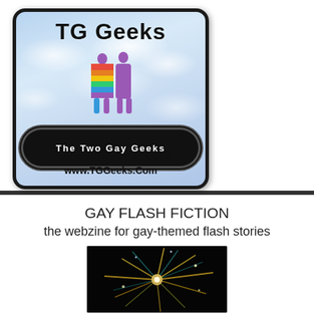[Figure (logo): TG Geeks logo: sky/cloud background with two rainbow-colored silhouetted figures, wavy black band with 'The Two Gay Geeks' text, tagline 'You name it, we talk about it'® and url www.TGGeeks.Com]
GAY FLASH FICTION
the webzine for gay-themed flash stories
[Figure (photo): Dark image of a firework or starburst explosion with golden/teal light rays against black background]